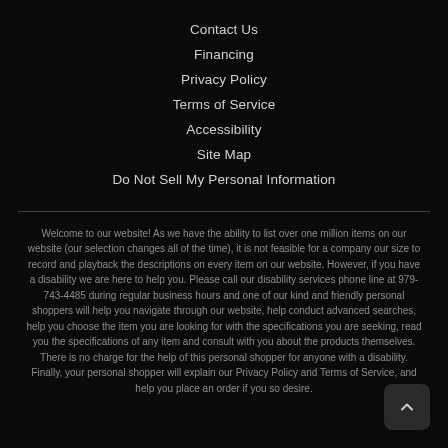Contact Us
Financing
Privacy Policy
Terms of Service
Accessibility
Site Map
Do Not Sell My Personal Information
Welcome to our website! As we have the ability to list over one million items on our website (our selection changes all of the time), it is not feasible for a company our size to record and playback the descriptions on every item on our website. However, if you have a disability we are here to help you. Please call our disability services phone line at 979-743-4485 during regular business hours and one of our kind and friendly personal shoppers will help you navigate through our website, help conduct advanced searches, help you choose the item you are looking for with the specifications you are seeking, read you the specifications of any item and consult with you about the products themselves. There is no charge for the help of this personal shopper for anyone with a disability. Finally, your personal shopper will explain our Privacy Policy and Terms of Service, and help you place an order if you so desire.